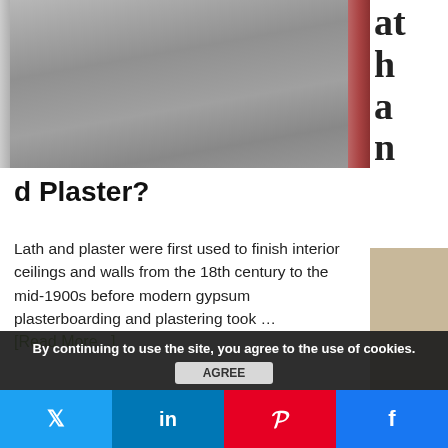[Figure (photo): Photograph of lath and plaster wall/ceiling surface, grey textured plaster with brick visible on the right edge]
d Plaster?
Lath and plaster were first used to finish interior ceilings and walls from the 18th century to the mid-1900s before modern gypsum plasterboarding and plastering took …
[Read More...]
RECENT PLASTERERS NEWS COMMENTS
Jim on A Closer Look At The ExtraTime Plaster Retarder
By continuing to use the site, you agree to the use of cookies.